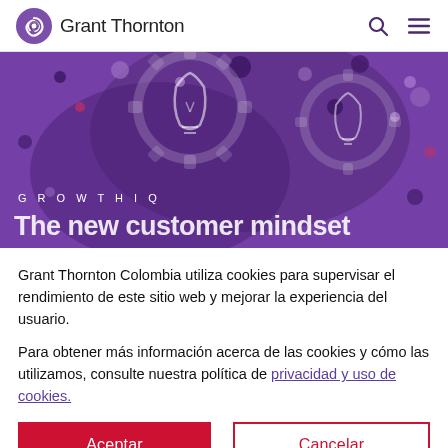[Figure (logo): Grant Thornton logo with purple swirl icon and wordmark]
[Figure (screenshot): Grant Thornton website hero banner with purple background, lightbulb gear illustrations, GROWTHIQ label, and partial title 'The new customer mindset']
Grant Thornton Colombia utiliza cookies para supervisar el rendimiento de este sitio web y mejorar la experiencia del usuario.
Para obtener más información acerca de las cookies y cómo las utilizamos, consulte nuestra política de privacidad y uso de cookies.